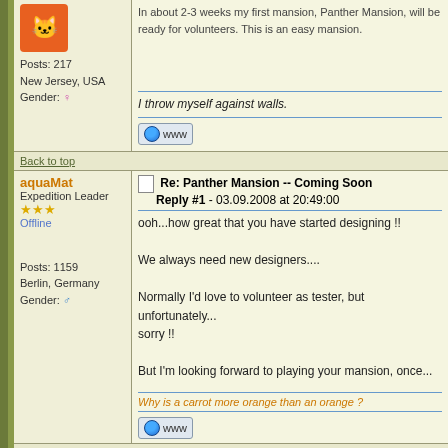In about 2-3 weeks my first mansion, Panther Mansion, will be ready for volunteers. This is an easy mansion.
I throw myself against walls.
Back to top
aquaMat
Expedition Leader
★★★
Offline
Posts: 1159
Berlin, Germany
Gender: ♂
Re: Panther Mansion -- Coming Soon
Reply #1 - 03.09.2008 at 20:49:00
ooh...how great that you have started designing !!

We always need new designers....

Normally I'd love to volunteer as tester, but unfortunately...
sorry !!

But I'm looking forward to playing your mansion, once...
Why is a carrot more orange than an orange ?
Back to top
Missy
Treasure Hunter
★★
Offline
Re: Panther Mansion -- Coming Soon
Reply #2 - 11.09.2008 at 21:14:37
Hello Catwoman,
I have become pretty good playing... if you wouldn't...